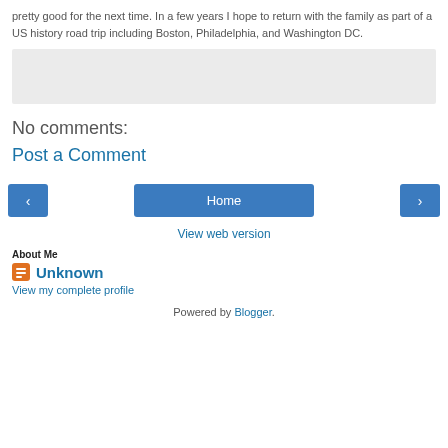pretty good for the next time. In a few years I hope to return with the family as part of a US history road trip including Boston, Philadelphia, and Washington DC.
[Figure (other): Light gray comment/input box area]
No comments:
Post a Comment
‹    Home    ›
View web version
About Me
Unknown
View my complete profile
Powered by Blogger.